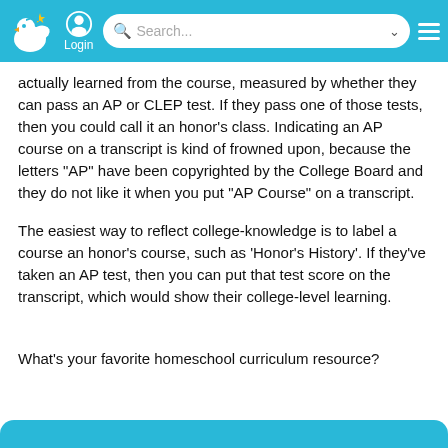Login | Search...
actually learned from the course, measured by whether they can pass an AP or CLEP test. If they pass one of those tests, then you could call it an honor’s class. Indicating an AP course on a transcript is kind of frowned upon, because the letters “AP” have been copyrighted by the College Board and they do not like it when you put “AP Course” on a transcript.
The easiest way to reflect college-knowledge is to label a course an honor’s course, such as ‘Honor’s History’. If they’ve taken an AP test, then you can put that test score on the transcript, which would show their college-level learning.
What's your favorite homeschool curriculum resource?